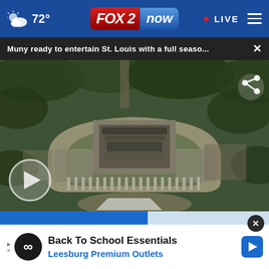FOX 2 now — 72° — LIVE
Muny ready to entertain St. Louis with a full seaso...
[Figure (photo): Aerial drone photo of the Muny outdoor theater in Forest Park, St. Louis, surrounded by trees, showing the large open-air amphitheater structure with its roof, stage, and colonnaded facade from above.]
Back To School Essentials
Leesburg Premium Outlets